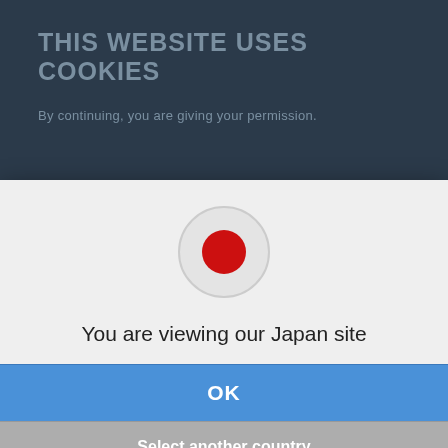THIS WEBSITE USES COOKIES
By continuing, you are giving your permission.
[Figure (screenshot): Japan country selector modal dialog showing Japanese flag icon (red circle on white), text 'You are viewing our Japan site', an OK button in blue, and a 'Select another country' button in gray, overlaid on a website with a cookie consent banner and a photo of a handheld measuring device.]
You are viewing our Japan site
OK
Select another country
Feedback